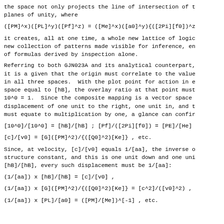the space not only projects the line of intersection of t planes of unity, where
it creates, all at one time, a whole new lattice of logic new collection of patterns made visible for inference, en of formulas derived by inspection alone.
Referring to both GJN023A and its analytical counterpart, it is a given that the origin must correlate to the value in all three spaces. With the plot point for action in e space equal to [hB], the overlay ratio at that point must 10^0 = 1. Since the composite mapping is a vector space displacement of one unit to the right, one unit in, and t must equate to multiplication by one, a glance can confir
Since, at velocity, [c]/[v0] equals 1/[aa], the inverse o structure constant, and this is one unit down and one uni [hB]/[hB], every such displacement must be 1/[aa]: